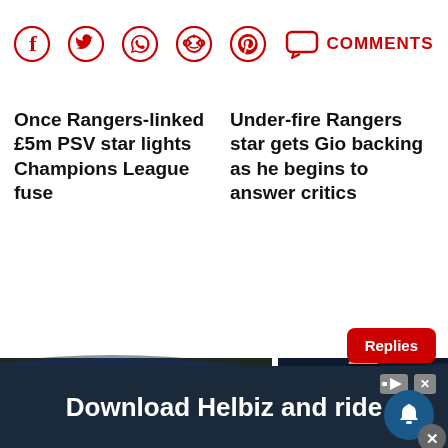[Figure (infographic): Social media share icons row: Facebook, Twitter, WhatsApp, Reddit, Pinterest, Comments bubble icon with COMMENTS label in red]
Once Rangers-linked £5m PSV star lights Champions League fuse
Under-fire Rangers star gets Gio backing as he begins to answer critics
[Figure (photo): Photo of two men on a football pitch, one player in black kit with number 6, one in black tracksuit coaching]
[Figure (photo): Photo of a footballer in blue kit pointing forward against dark background, with Replies red badge and bell notification overlay]
[Figure (infographic): Advertisement banner: Download Helbiz and ride, dark background with white bold text, ad icons top right]